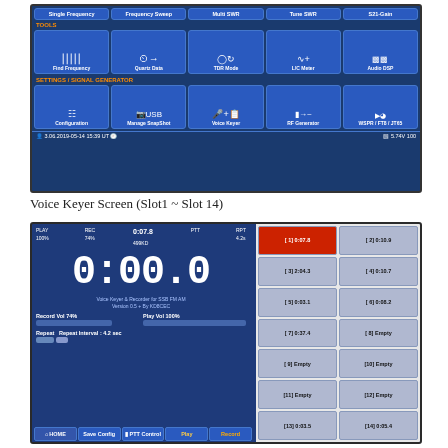[Figure (screenshot): Radio device menu screen showing TOOLS section with Find Frequency, Quartz Data, TDR Mode, L/C Meter, Audio DSP icons and SETTINGS/SIGNAL GENERATOR section with Configuration, Manage SnapShot, Voice Keyer, RF Generator, WSPR/FT8/JT65 icons. Status bar shows date 3.06.2019-05-14 15:39 UT and 5.74V 100.]
Voice Keyer Screen (Slot1 ~ Slot 14)
[Figure (screenshot): Voice Keyer screen showing PLAY 100%, REC 74%, time 0:07.8, 499KB, PTT, RPT 4.2s. Large display showing 0:00.0. Voice Keyer & Recorder for SSB/FM/AM Version 0.5 + By KD8CEC. Record Vol 74%, Play Vol 100%. Repeat Interval: 4.2 sec. Right panel shows slots 1-14 with times: [1] 0:07.8, [2] 0:10.9, [3] 2:04.3, [4] 0:10.7, [5] 0:03.1, [6] 0:08.2, [7] 0:37.4, [8] Empty, [9] Empty, [10] Empty, [11] Empty, [12] Empty, [13] 0:03.5, [14] 0:05.4. Bottom buttons: HOME, Save Config, PTT Control, Play, Record.]